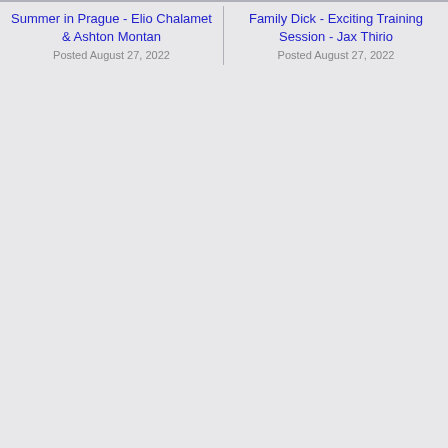Summer in Prague - Elio Chalamet & Ashton Montan
Posted August 27, 2022
Family Dick - Exciting Training Session - Jax Thirio
Posted August 27, 2022